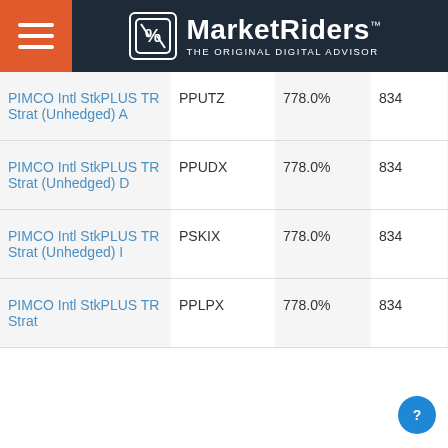MarketRiders THE ORIGINAL DIGITAL ADVISOR
| Fund Name | Ticker | Return | Count | Expense |
| --- | --- | --- | --- | --- |
| PIMCO Intl StkPLUS TR Strat (Unhedged) A | PPUTZ | 778.0% | 834 | 1.04% |
| PIMCO Intl StkPLUS TR Strat (Unhedged) D | PPUDX | 778.0% | 834 | 1.04% |
| PIMCO Intl StkPLUS TR Strat (Unhedged) I | PSKIX | 778.0% | 834 | 0.64% |
| PIMCO Intl StkPLUS TR Strat | PPLPX | 778.0% | 834 | 0.74% |